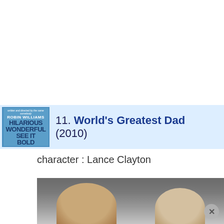[Figure (other): Movie entry row with poster thumbnail for 'World's Greatest Dad' showing Robin Williams on cover, with blue highlighted background bar. Text reads: 11. World's Greatest Dad (2010)]
character : Lance Clayton
[Figure (photo): Movie scene photo showing people, partially visible, with a close/dismiss button (x) in bottom right corner]